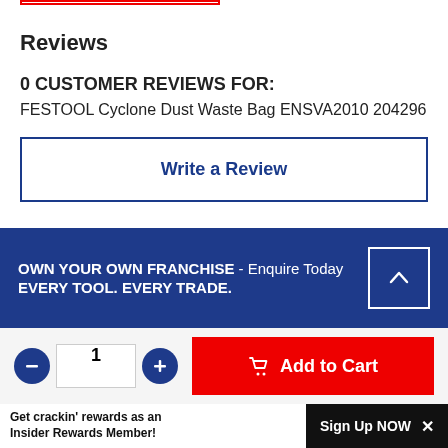Reviews
0 CUSTOMER REVIEWS FOR:
FESTOOL Cyclone Dust Waste Bag ENSVA2010 204296
Write a Review
OWN YOUR OWN FRANCHISE - Enquire Today EVERY TOOL. EVERY TRADE.
1
Add to Cart
Get crackin' rewards as an Insider Rewards Member!
Sign Up NOW ×